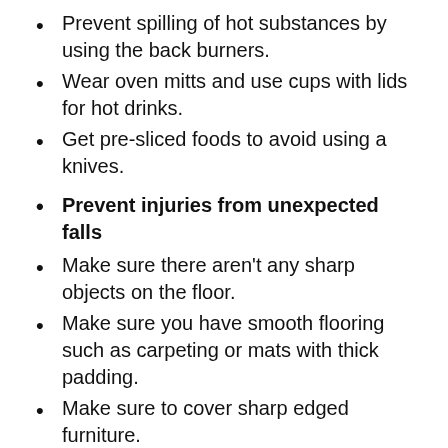Prevent spilling of hot substances by using the back burners.
Wear oven mitts and use cups with lids for hot drinks.
Get pre-sliced foods to avoid using a knives.
Prevent injuries from unexpected falls
Make sure there aren't any sharp objects on the floor.
Make sure you have smooth flooring such as carpeting or mats with thick padding.
Make sure to cover sharp edged furniture.
For more information or resources on this topic, please contact:
Our CWS App